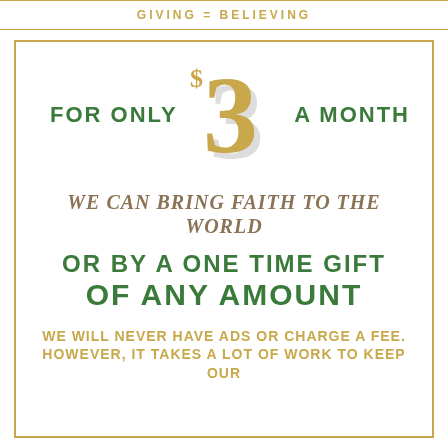GIVING = BELIEVING
FOR ONLY $3 A MONTH
WE CAN BRING FAITH TO THE WORLD
OR BY A ONE TIME GIFT OF ANY AMOUNT
WE WILL NEVER HAVE ADS OR CHARGE A FEE. HOWEVER, IT TAKES A LOT OF WORK TO KEEP OUR